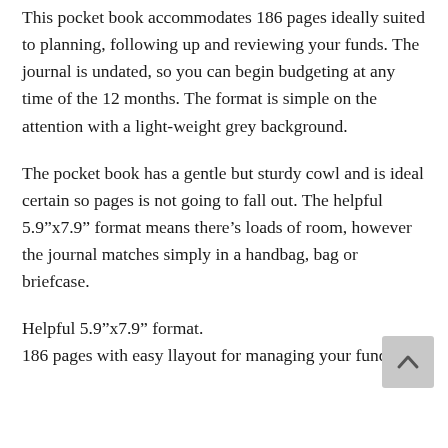This pocket book accommodates 186 pages ideally suited to planning, following up and reviewing your funds. The journal is undated, so you can begin budgeting at any time of the 12 months. The format is simple on the attention with a light-weight grey background.
The pocket book has a gentle but sturdy cowl and is ideal certain so pages is not going to fall out. The helpful 5.9”x7.9” format means there’s loads of room, however the journal matches simply in a handbag, bag or briefcase.
Helpful 5.9”x7.9” format.
186 pages with easy llayout for managing your funds.